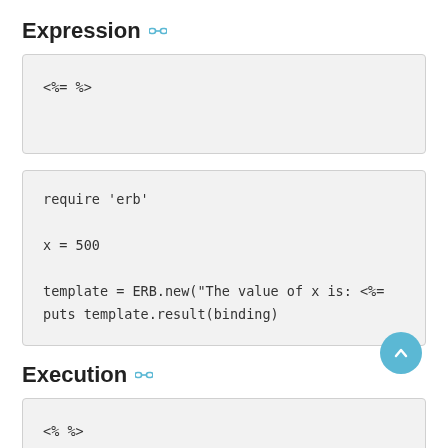Expression
<%= %>
require 'erb'
x = 500
template = ERB.new("The value of x is: <%=
puts template.result(binding)
Execution
<% %>